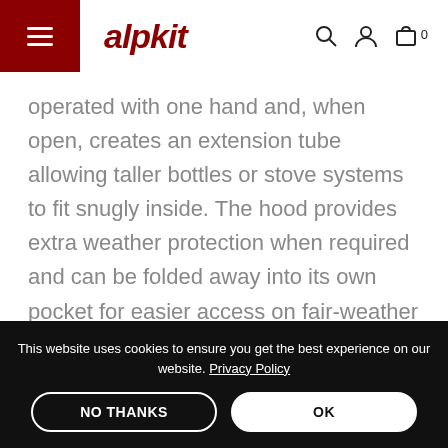alpkit
operated with one hand and, when open, creates an extension tube allowing taller bottles or stove systems to fit snugly inside. The hood provides extra weather protection when required and can be folded away into its own pocket for easier access on fair-weather rides. Stem Cell uses hard-wearing
This website uses cookies to ensure you get the best experience on our website. Privacy Policy
NO THANKS
OK